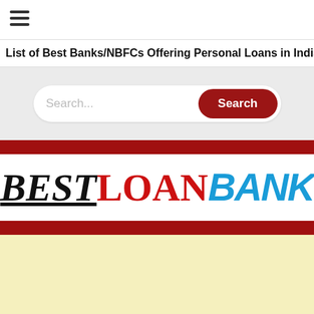[Figure (other): Hamburger menu icon (three horizontal lines)]
List of Best Banks/NBFCs Offering Personal Loans in India » Ba
Search...
[Figure (logo): BestLoanBank logo: BEST in black serif italic underlined, LOAN in red serif, BANK in blue sans italic]